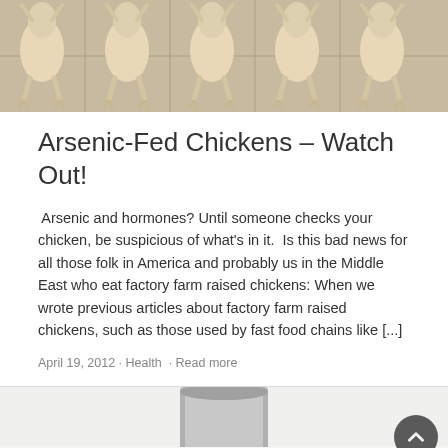[Figure (photo): Row of raw plucked chickens hanging upside down on a tiled surface, shown from above]
Arsenic-Fed Chickens – Watch Out!
Arsenic and hormones? Until someone checks your chicken, be suspicious of what's in it.  Is this bad news for all those folk in America and probably us in the Middle East who eat factory farm raised chickens: When we wrote previous articles about factory farm raised chickens, such as those used by fast food chains like [...]
April 19, 2012 · Health · Read more
[Figure (photo): Partial view of bottom article image showing what appears to be a metal container on a light background]